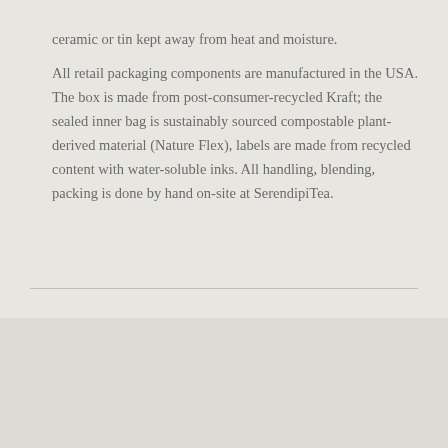ceramic or tin kept away from heat and moisture.
All retail packaging components are manufactured in the USA. The box is made from post-consumer-recycled Kraft; the sealed inner bag is sustainably sourced compostable plant-derived material (Nature Flex), labels are made from recycled content with water-soluble inks. All handling, blending, packing is done by hand on-site at SerendipiTea.